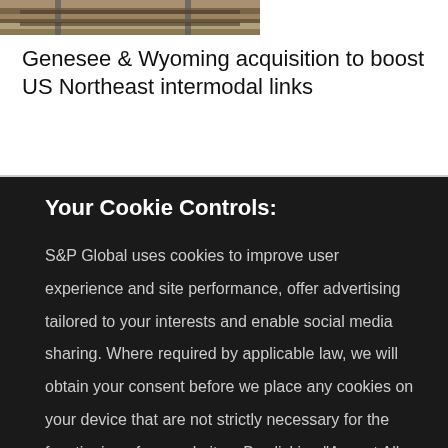[Figure (photo): Partial photo of railroad tracks, visible at top of page]
Genesee & Wyoming acquisition to boost US Northeast intermodal links
Your Cookie Controls:
S&P Global uses cookies to improve user experience and site performance, offer advertising tailored to your interests and enable social media sharing. Where required by applicable law, we will obtain your consent before we place any cookies on your device that are not strictly necessary for the functioning of our websites. By clicking "Accept All Cookies", you agree to our use of cookies. Learn about our cookies and how to modify your preferences in our Cookie Notice. Visit our updated